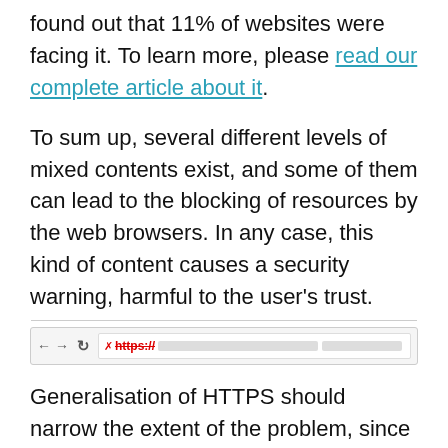found out that 11% of websites were facing it. To learn more, please read our complete article about it.
To sum up, several different levels of mixed contents exist, and some of them can lead to the blocking of resources by the web browsers. In any case, this kind of content causes a security warning, harmful to the user's trust.
[Figure (screenshot): Browser address bar showing a crossed-out https:// with a red X icon indicating mixed content security warning]
Generalisation of HTTPS should narrow the extent of the problem, since most of the resources should progressively be available in